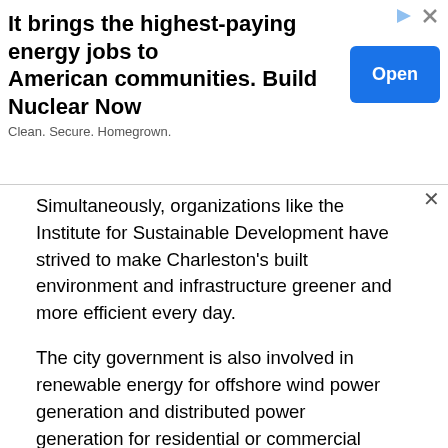[Figure (other): Advertisement banner: 'It brings the highest-paying energy jobs to American communities. Build Nuclear Now' with Open button and tagline 'Clean. Secure. Homegrown.']
Simultaneously, organizations like the Institute for Sustainable Development have strived to make Charleston's built environment and infrastructure greener and more efficient every day.
The city government is also involved in renewable energy for offshore wind power generation and distributed power generation for residential or commercial solar installations.
North Charleston
The City of North Charleston has vowed to do everything possible to overcome previous development experiences and replace unused industrial sites with green parks, party